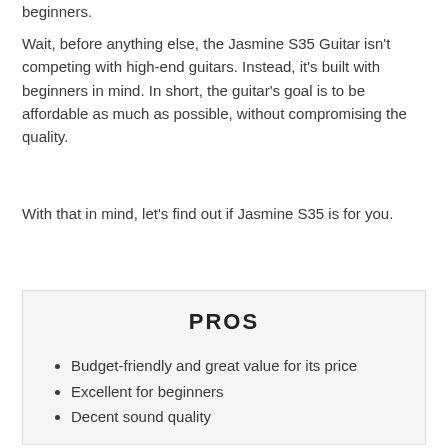beginners.
Wait, before anything else, the Jasmine S35 Guitar isn't competing with high-end guitars. Instead, it's built with beginners in mind. In short, the guitar's goal is to be affordable as much as possible, without compromising the quality.
With that in mind, let's find out if Jasmine S35 is for you.
PROS
Budget-friendly and great value for its price
Excellent for beginners
Decent sound quality